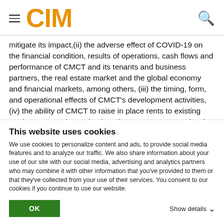CIM
mitigate its impact,(ii) the adverse effect of COVID-19 on the financial condition, results of operations, cash flows and performance of CMCT and its tenants and business partners, the real estate market and the global economy and financial markets, among others, (iii) the timing, form, and operational effects of CMCT's development activities, (iv) the ability of CMCT to raise in place rents to existing market rents and to maintain or increase occupancy levels, (v) fluctuations in market rents, including as a result of
This website uses cookies
We use cookies to personalize content and ads, to provide social media features and to analyze our traffic. We also share information about your use of our site with our social media, advertising and analytics partners who may combine it with other information that you've provided to them or that they've collected from your use of their services. You consent to our cookies if you continue to use our website.
OK
Show details